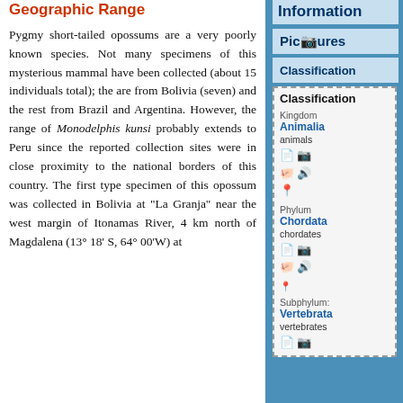Geographic Range
Information
Pictures
Classification
Pygmy short-tailed opossums are a very poorly known species. Not many specimens of this mysterious mammal have been collected (about 15 individuals total); the are from Bolivia (seven) and the rest from Brazil and Argentina. However, the range of Monodelphis kunsi probably extends to Peru since the reported collection sites were in close proximity to the national borders of this country. The first type specimen of this opossum was collected in Bolivia at "La Granja" near the west margin of Itonamas River, 4 km north of Magdalena (13° 18' S, 64° 00'W) at
| Rank | Name | Common |
| --- | --- | --- |
| Kingdom | Animalia | animals |
| Phylum | Chordata | chordates |
| Subphylum | Vertebrata | vertebrates |